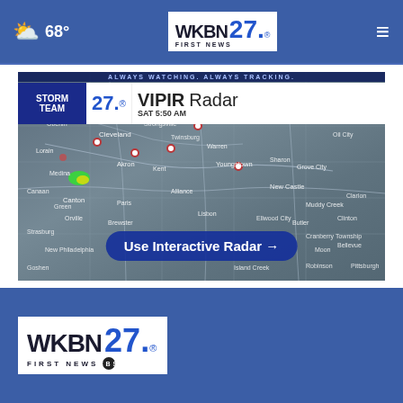68° WKBN 27 FIRST NEWS
[Figure (screenshot): WKBN Storm Team 27 VIPIR Radar map showing northeastern Ohio and western Pennsylvania region. Overlay shows 'ALWAYS WATCHING. ALWAYS TRACKING.' banner, Storm Team 27 logo, VIPIR Radar title, SAT 5:50 AM timestamp, and 'Use Interactive Radar →' button.]
[Figure (logo): WKBN 27 First News logo in white box at bottom footer]